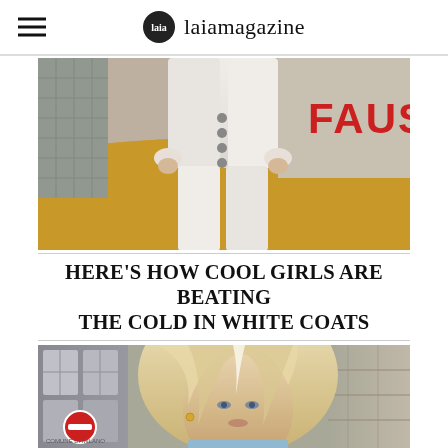laiamagazine
[Figure (photo): Person wearing all-white coat and white jeans, sitting on a yellow curved surface. Red text 'FAUS' visible on the right. Tiled sidewalk visible on the left.]
HERE'S HOW COOL GIRLS ARE BEATING THE COLD IN WHITE COATS
[Figure (photo): Close-up portrait of a blonde woman with shoulder-length hair, wearing a light blue outfit, photographed outdoors with a building and road sign visible in the background.]